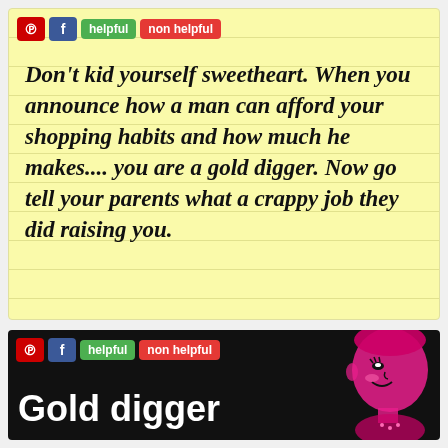[Figure (screenshot): Yellow notepad-style card with social sharing buttons (Pinterest, Facebook, helpful, non helpful) and italic bold quote text reading: Don't kid yourself sweetheart. When you announce how a man can afford your shopping habits and how much he makes.... you are a gold digger. Now go tell your parents what a crappy job they did raising you.]
[Figure (screenshot): Black background card with social sharing buttons (Pinterest, Facebook, helpful, non helpful) and large white text 'Gold digger' with a pink retro illustration of a smiling woman on the right side.]